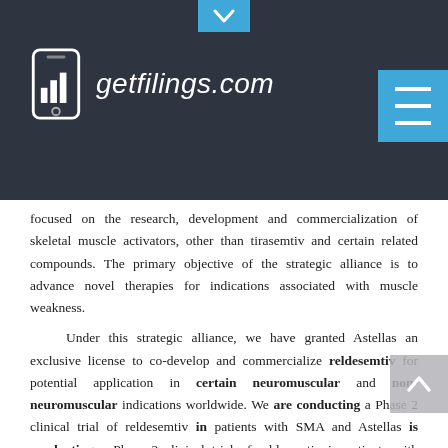getfilings.com
focused on the research, development and commercialization of skeletal muscle activators, other than tirasemtiv and certain related compounds. The primary objective of the strategic alliance is to advance novel therapies for indications associated with muscle weakness.
Under this strategic alliance, we have granted Astellas an exclusive license to co-develop and commercialize reldesemtiv for potential application in certain neuromuscular and non-neuromuscular indications worldwide. We are conducting a Phase 2 clinical trial of reldesemtiv in patients with SMA and Astellas is conducting a Phase 2 clinical trial of reldesemtiv in patients with COPD as well as a Phase 1b clinical trial of reldesemtiv in elderly subjects with limited mobility.
In 2016, we expanded our collaboration with Astellas and granted Astellas an option to enter into a pre-negotiated agreement for a global collaboration